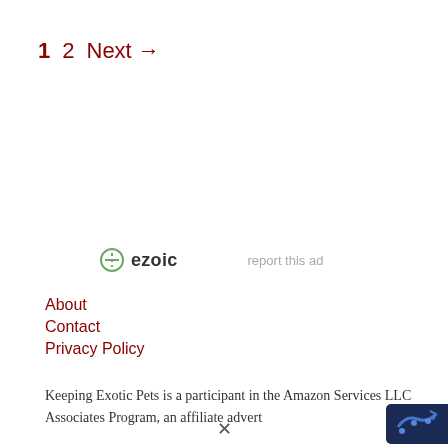1  2  Next →
[Figure (logo): Ezoic logo with green circle icon and bold 'ezoic' text, plus 'report this ad' link to the right]
About
Contact
Privacy Policy
Keeping Exotic Pets is a participant in the Amazon Services LLC Associates Program, an affiliate advert